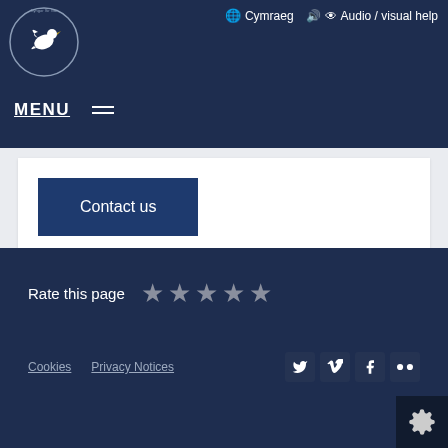Cymraeg | Audio / visual help | MENU
[Figure (logo): Carmarthenshire County Council logo — dove with circular badge]
Contact us
Page updated: 22/06/2021 14:31:21
Rate this page ★★★★★
Cookies | Privacy Notices — Twitter, Vimeo, Facebook, Flickr social icons, settings gear